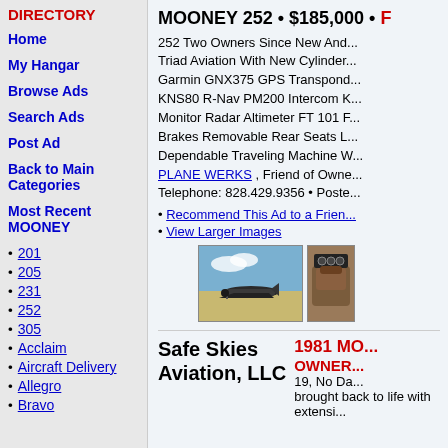DIRECTORY
Home
My Hangar
Browse Ads
Search Ads
Post Ad
Back to Main Categories
Most Recent MOONEY
201
205
231
252
305
Acclaim
Aircraft Delivery
Allegro
Bravo
MOONEY 252 • $185,000 • F... 252 Two Owners Since New And... Triad Aviation With New Cylinder... Garmin GNX375 GPS Transpond... KNS80 R-Nav PM200 Intercom K... Monitor Radar Altimeter FT 101 F... Brakes Removable Rear Seats L... Dependable Traveling Machine W... PLANE WERKS , Friend of Owne... Telephone: 828.429.9356 • Poste...
Recommend This Ad to a Friend...
View Larger Images
[Figure (photo): Exterior photo of a Mooney 252 aircraft on a tarmac]
[Figure (photo): Interior photo of a Mooney aircraft cockpit]
Safe Skies Aviation, LLC   1981 MO... OWNER... 19, No Da... brought back to life with extensi...